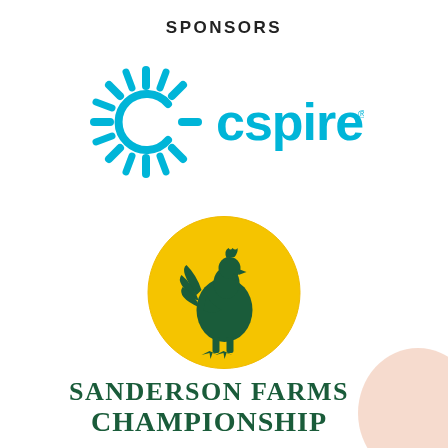SPONSORS
[Figure (logo): C Spire logo — cyan/turquoise starburst icon on left, 'cspire' text in cyan on right]
[Figure (logo): Sanderson Farms Championship logo — dark green rooster silhouette on yellow circle, with 'SANDERSON FARMS CHAMPIONSHIP' text in dark green below]